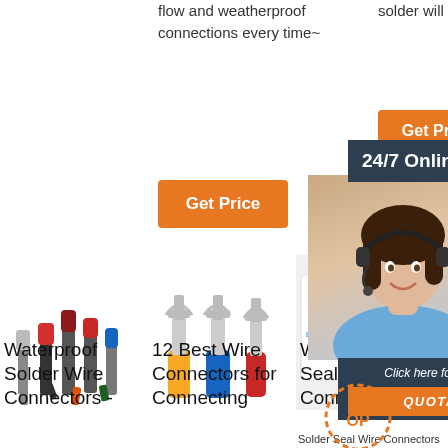flow and weatherproof connections every time~
solder will gradually …
[Figure (other): Orange Get Price button (left column)]
[Figure (other): Orange Get Price button (right column)]
[Figure (other): Dark banner with 24/7 Online text and customer service representative photo with headset, chat panel with QUOTATION button]
[Figure (photo): Wire ferrule/end-cap connectors in various colors on white background]
[Figure (photo): Fork/spade wire connectors in yellow, blue, and red on white background]
[Figure (photo): HP logo and white background panel]
Waterproof Solder Wire Connectors -
12 Best Wire Connectors for Connecting
Wirely Solder Seal Wire Connectors
Solder Seal Wire Connectors